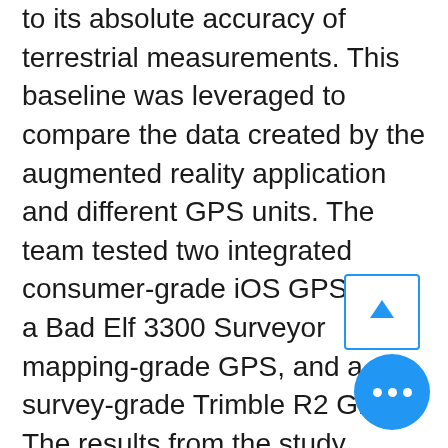to its absolute accuracy of terrestrial measurements. This baseline was leveraged to compare the data created by the augmented reality application and different GPS units. The team tested two integrated consumer-grade iOS GPS units, a Bad Elf 3300 Surveyor mapping-grade GPS, and a survey-grade Trimble R2 GPS. The results from the study suggest 1) there is a minimum amount of GPS accuracy needed to confidently map assets using augmented reality and GIS applications in outdoor environments, 2) the results show that consumer-grade GPS accuracies were significantly different compared to the results from the external GPS receivers, and 3) the findings of this study do not support the use of current smartphone technology with the integration of augmented reality as a viable field collection technique. The presentation
[Figure (other): Scroll-to-top button: square button with blue border and blue upward arrow icon]
[Figure (other): More options button: circular blue button with three white horizontal dots]